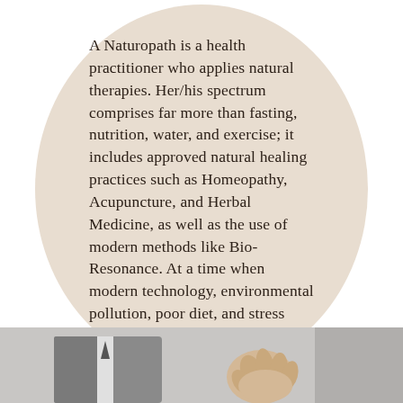A Naturopath is a health practitioner who applies natural therapies. Her/his spectrum comprises far more than fasting, nutrition, water, and exercise; it includes approved natural healing practices such as Homeopathy, Acupuncture, and Herbal Medicine, as well as the use of modern methods like Bio-Resonance. At a time when modern technology, environmental pollution, poor diet, and stress play a significant role in the degradation of health, a Naturopath's ability to apply natural methods of healing is of considerable importance.
[Figure (photo): Bottom portion of page showing a partial photo of a person in a suit with a hand visible, cropped at the bottom edge of the page.]